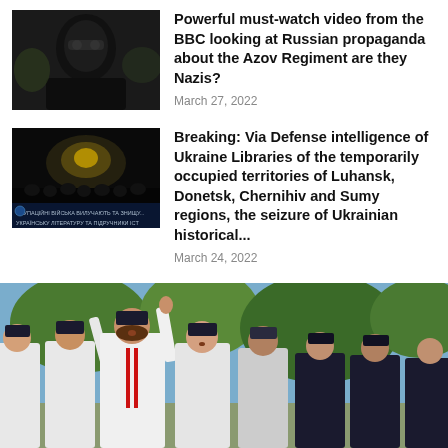[Figure (photo): Person in black balaclava and tactical gear, dark background]
Powerful must-watch video from the BBC looking at Russian propaganda about the Azov Regiment are they Nazis?
March 27, 2022
[Figure (photo): Dark image of crowd/gathering at night with lights, Ukrainian text overlay at bottom]
Breaking: Via Defense intelligence of Ukraine Libraries of the temporarily occupied territories of Luhansk, Donetsk, Chernihiv and Sumy regions, the seizure of Ukrainian historical...
March 24, 2022
[Figure (photo): Military personnel in white uniforms and dark caps taking oath with right hands raised, outdoors with trees in background]